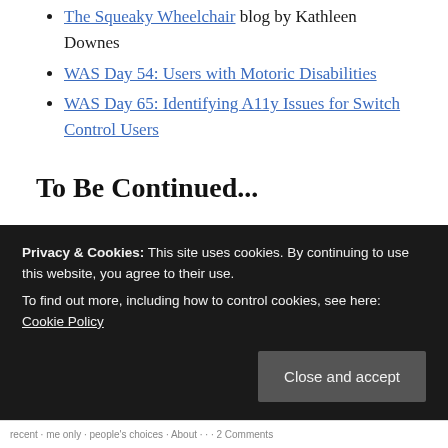The Squeaky Wheelchair blog by Kathleen Downes
WAS Day 54: Users with Motoric Disabilities
WAS Day 65: Identifying A11y Issues for Switch Control Users
To Be Continued...
This post only covers touches on some of the categories of disabilities. Next up, I'll be learning about cognitive, speech, seizure, psychological/psychiatric, and compound disabilities.
Privacy & Cookies: This site uses cookies. By continuing to use this website, you agree to their use.
To find out more, including how to control cookies, see here: Cookie Policy
Close and accept